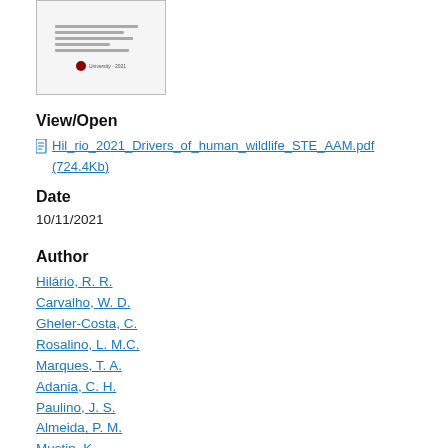[Figure (illustration): Thumbnail image of a document page with text lines and a university logo at the bottom]
View/Open
Hil_rio_2021_Drivers_of_human_wildlife_STE_AAM.pdf (724.4Kb)
Date
10/11/2021
Author
Hilário, R. R.
Carvalho, W. D.
Gheler-Costa, C.
Rosalino, L. M.C.
Marques, T. A.
Adania, C. H.
Paulino, J. S.
Almeida, P. M.
Mustin, K.